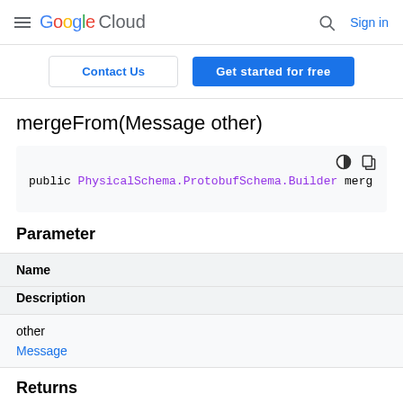Google Cloud — hamburger menu, search, Sign in
[Figure (screenshot): Contact Us and Get started for free buttons]
mergeFrom(Message other)
public PhysicalSchema.ProtobufSchema.Builder merg
Parameter
| Name | Description |
| --- | --- |
| other | Message |
Returns